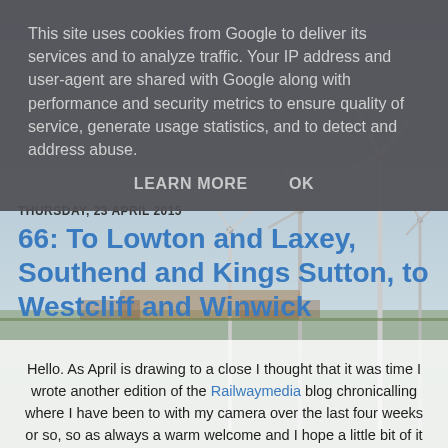This site uses cookies from Google to deliver its services and to analyze traffic. Your IP address and user-agent are shared with Google along with performance and security metrics to ensure quality of service, generate usage statistics, and to detect and address abuse.
LEARN MORE    OK
[Figure (photo): Background photograph of a wind farm with multiple wind turbines against a blue-grey sky, with some industrial/railway infrastructure visible in the foreground.]
THURSDAY, 23 APRIL 2015
66: To Lowton and Laxey, Southend and Kings Sutton, to Westcliff and Winwick
Hello. As April is drawing to a close I thought that it was time I wrote another edition of the Railwaymedia blog chronicalling where I have been to with my camera over the last four weeks or so, so as always a warm welcome and I hope a little bit of it might be of use to someone!